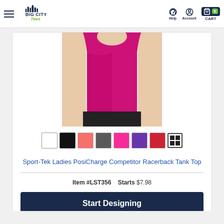Big City Tees — Help | Account | CART (0)
[Figure (photo): Product photo of a pink/magenta Sport-Tek Ladies PosiCharge Competitor Racerback Tank Top on a model, cropped to torso]
[Figure (infographic): Color swatch selector row: white, black, coral, gray, hot pink, purple, red, multi-color grid icon]
Sport-Tek Ladies PosiCharge Competitor Racerback Tank Top
Item #LST356   Starts $7.98
Start Designing